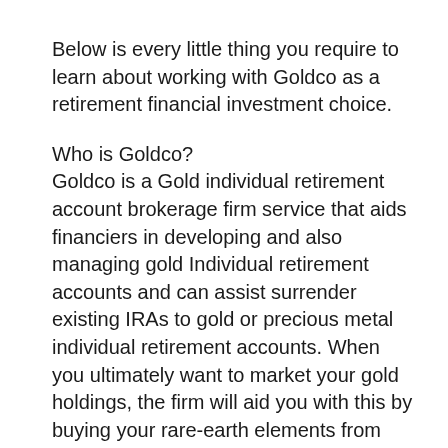Below is every little thing you require to learn about working with Goldco as a retirement financial investment choice.
Who is Goldco?
Goldco is a Gold individual retirement account brokerage firm service that aids financiers in developing and also managing gold Individual retirement accounts and can assist surrender existing IRAs to gold or precious metal individual retirement accounts. When you ultimately want to market your gold holdings, the firm will aid you with this by buying your rare-earth elements from you or marketing them on your behalf in the metal market.